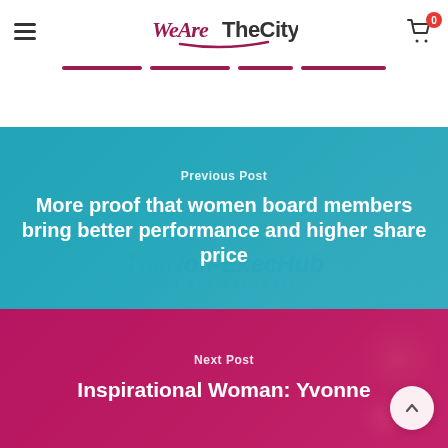WeAreTheCity — navigation header with hamburger menu and shopping cart (0 items)
[Figure (screenshot): Previous post banner with teal/cyan background overlay showing: label 'Previous Post', title 'More proof that women board members bring better performance and higher share price', with The Non-ExecHub watermark text in background]
[Figure (screenshot): Next post banner with magenta/pink background overlay showing: label 'Next Post', title 'Inspirational Woman: Yvonne ...' (text cut off), with floral background image and scroll-to-top circular button]